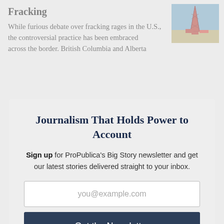Fracking
While furious debate over fracking rages in the U.S., the controversial practice has been embraced across the border. British Columbia and Alberta
[Figure (photo): Photo of an oil drilling rig against a blue sky]
Journalism That Holds Power to Account
Sign up for ProPublica's Big Story newsletter and get our latest stories delivered straight to your inbox.
you@example.com
Get the Newsletter
No thanks, I'm all set
This site is protected by reCAPTCHA and the Google Privacy Policy and Terms of Service apply.